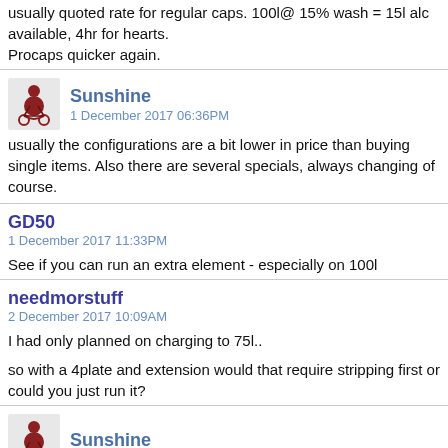usually quoted rate for regular caps. 100l@ 15% wash = 15l alc available, 4hr for hearts.
Procaps quicker again.
Sunshine
1 December 2017 06:36PM
usually the configurations are a bit lower in price than buying single items. Also there are several specials, always changing of course.
GD50
1 December 2017 11:33PM
See if you can run an extra element - especially on 100l
needmorstuff
2 December 2017 10:09AM
I had only planned on charging to 75l..
so with a 4plate and extension would that require stripping first or could you just run it?
Sunshine